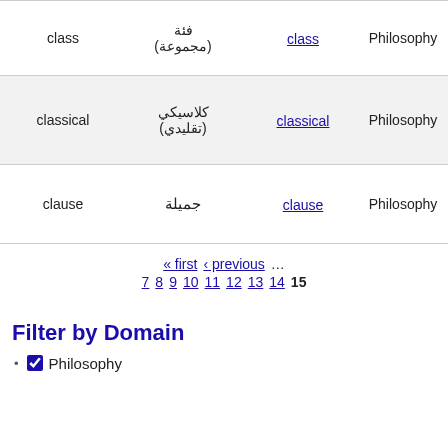|  | فئة (مجموعة) | class | Philosophy |
| --- | --- | --- | --- |
| class | فئة (مجموعة) | class | Philosophy |
| classical | كلاسيكي (تقليدي) | classical | Philosophy |
| clause | جميلة | clause | Philosophy |
« first ‹ previous … 7 8 9 10 11 12 13 14 15
Filter by Domain
Philosophy